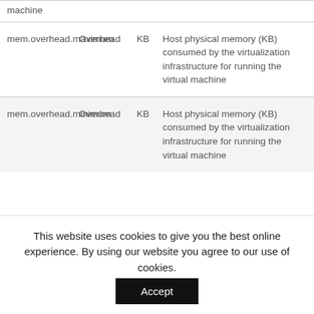|  |  |  |  |
| --- | --- | --- | --- |
| machine |  |  |  |
| mem.overhead.maximum | Overhead | KB | Host physical memory (KB) consumed by the virtualization infrastructure for running the virtual machine |
| mem.overhead.minimum | Overhead | KB | Host physical memory (KB) consumed by the virtualization infrastructure for running the virtual machine |
This website uses cookies to give you the best online experience. By using our website you agree to our use of cookies.